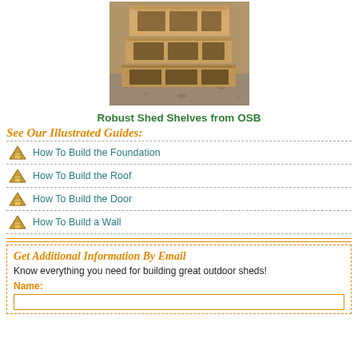[Figure (photo): Photo of wooden shed shelves made from OSB board, viewed from above/front showing stacked shelf units with rough wood texture]
Robust Shed Shelves from OSB
See Our Illustrated Guides:
How To Build the Foundation
How To Build the Roof
How To Build the Door
How To Build a Wall
Get Additional Information By Email
Know everything you need for building great outdoor sheds!
Name: